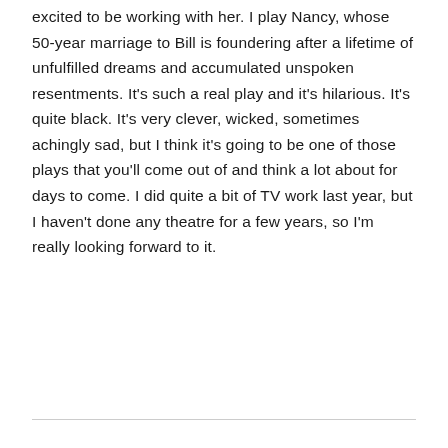excited to be working with her. I play Nancy, whose 50-year marriage to Bill is foundering after a lifetime of unfulfilled dreams and accumulated unspoken resentments. It's such a real play and it's hilarious. It's quite black. It's very clever, wicked, sometimes achingly sad, but I think it's going to be one of those plays that you'll come out of and think a lot about for days to come. I did quite a bit of TV work last year, but I haven't done any theatre for a few years, so I'm really looking forward to it.